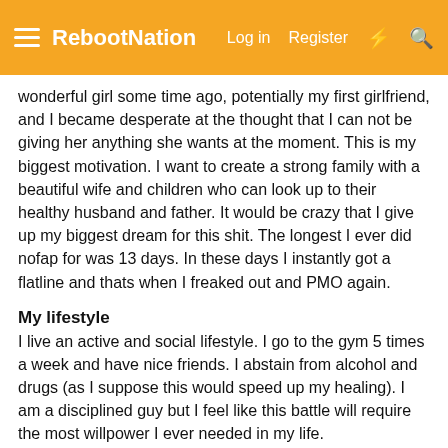RebootNation — Log in | Register
wonderful girl some time ago, potentially my first girlfriend, and I became desperate at the thought that I can not be giving her anything she wants at the moment. This is my biggest motivation. I want to create a strong family with a beautiful wife and children who can look up to their healthy husband and father. It would be crazy that I give up my biggest dream for this shit. The longest I ever did nofap for was 13 days. In these days I instantly got a flatline and thats when I freaked out and PMO again.
My lifestyle
I live an active and social lifestyle. I go to the gym 5 times a week and have nice friends. I abstain from alcohol and drugs (as I suppose this would speed up my healing). I am a disciplined guy but I feel like this battle will require the most willpower I ever needed in my life.
The gameplan
I will do no PMO for as long as needed. When I get urges I fullfill